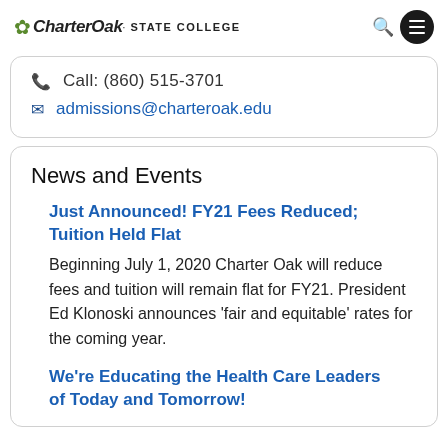CharterOak STATE COLLEGE
Call: (860) 515-3701
admissions@charteroak.edu
News and Events
Just Announced! FY21 Fees Reduced; Tuition Held Flat
Beginning July 1, 2020 Charter Oak will reduce fees and tuition will remain flat for FY21. President Ed Klonoski announces 'fair and equitable' rates for the coming year.
We're Educating the Health Care Leaders of Today and Tomorrow!